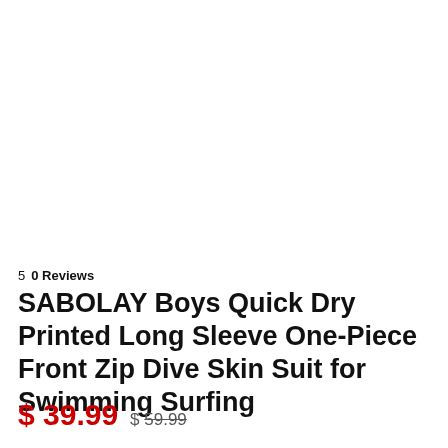5  0 Reviews
SABOLAY Boys Quick Dry Printed Long Sleeve One-Piece Front Zip Dive Skin Suit for Swimming Surfing
$ 39.99  $ 59.99